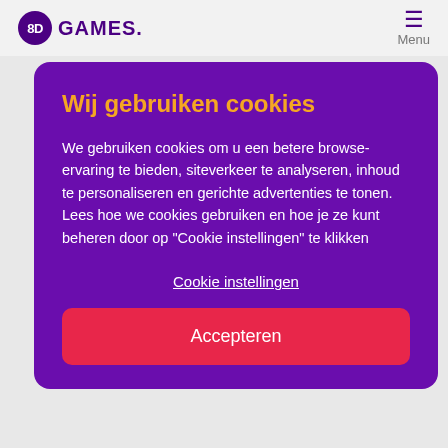8D GAMES. Menu
Wij gebruiken cookies
We gebruiken cookies om u een betere browse-ervaring te bieden, siteverkeer te analyseren, inhoud te personaliseren en gerichte advertenties te tonen. Lees hoe we cookies gebruiken en hoe je ze kunt beheren door op "Cookie instellingen" te klikken
Cookie instellingen
Accepteren